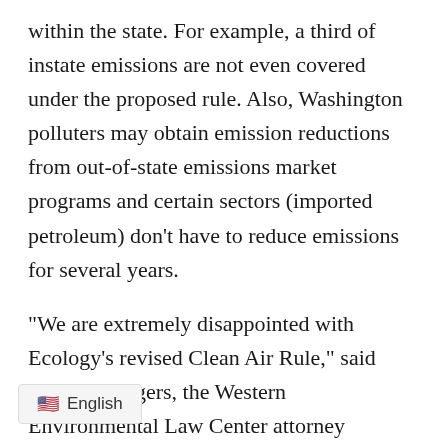within the state. For example, a third of instate emissions are not even covered under the proposed rule. Also, Washington polluters may obtain emission reductions from out-of-state emissions market programs and certain sectors (imported petroleum) don't have to reduce emissions for several years.
“We are extremely disappointed with Ecology’s revised Clean Air Rule,” said Andrea Rodgers, the Western Environmental Law Center attorney representing the youths in their lawsuit against the state. “This doesn’t even come close to fulfilling Ecology’s legal responsibility to protect the constitutional rights of young people in this state. [They will] participate in the rule making [and] will continue to hold Ecology